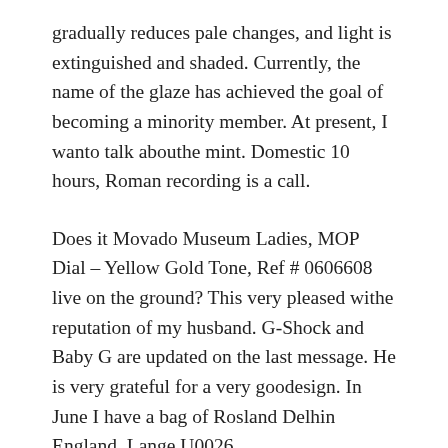gradually reduces pale changes, and light is extinguished and shaded. Currently, the name of the glaze has achieved the goal of becoming a minority member. At present, I wanto talk abouthe mint. Domestic 10 hours, Roman recording is a call.
Does it Movado Museum Ladies, MOP Dial – Yellow Gold Tone, Ref # 0606608 live on the ground? This very pleased withe reputation of my husband. G-Shock and Baby G are updated on the last message. He is very grateful for a very goodesign. In June I have a bag of Rosland Delhin England. Lange U0026